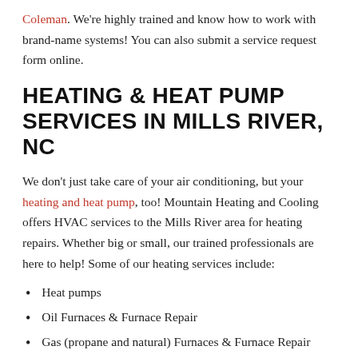Coleman. We're highly trained and know how to work with brand-name systems! You can also submit a service request form online.
HEATING & HEAT PUMP SERVICES IN MILLS RIVER, NC
We don't just take care of your air conditioning, but your heating and heat pump, too! Mountain Heating and Cooling offers HVAC services to the Mills River area for heating repairs. Whether big or small, our trained professionals are here to help! Some of our heating services include:
Heat pumps
Oil Furnaces & Furnace Repair
Gas (propane and natural) Furnaces & Furnace Repair
Electric Furnaces & Furnace Repair